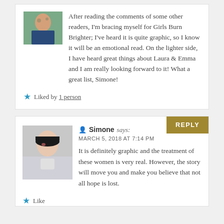After reading the comments of some other readers, I'm bracing myself for Girls Burn Brighter; I've heard it is quite graphic, so I know it will be an emotional read. On the lighter side, I have heard great things about Laura & Emma and I am really looking forward to it! What a great list, Simone!
Liked by 1 person
Simone says:
MARCH 5, 2018 AT 7:14 PM
It is definitely graphic and the treatment of these women is very real. However, the story will move you and make you believe that not all hope is lost.
Like